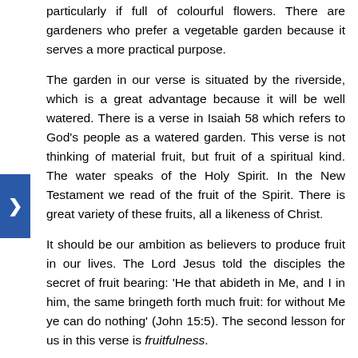particularly if full of colourful flowers. There are gardeners who prefer a vegetable garden because it serves a more practical purpose.
The garden in our verse is situated by the riverside, which is a great advantage because it will be well watered. There is a verse in Isaiah 58 which refers to God's people as a watered garden. This verse is not thinking of material fruit, but fruit of a spiritual kind. The water speaks of the Holy Spirit. In the New Testament we read of the fruit of the Spirit. There is great variety of these fruits, all a likeness of Christ.
It should be our ambition as believers to produce fruit in our lives. The Lord Jesus told the disciples the secret of fruit bearing: 'He that abideth in Me, and I in him, the same bringeth forth much fruit: for without Me ye can do nothing' (John 15:5). The second lesson for us in this verse is fruitfulness.
Third description of the camp
The third description in verse 6 is: 'Trees of lign aloes which the LORD hath planted'. Those Scriptures that